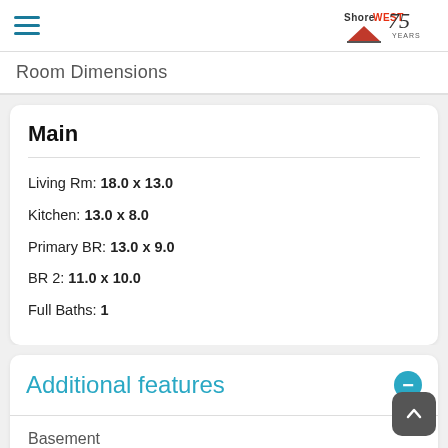Shorewest 75 Years
Room Dimensions
Main
Living Rm: 18.0 x 13.0
Kitchen: 13.0 x 8.0
Primary BR: 13.0 x 9.0
BR 2: 11.0 x 10.0
Full Baths: 1
Additional features
Basement
None